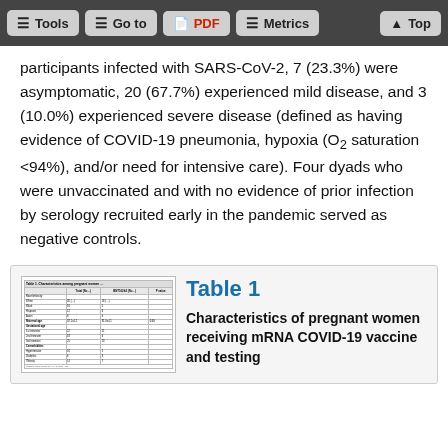Tools | Go to | PDF | Metrics | Top
participants infected with SARS-CoV-2, 7 (23.3%) were asymptomatic, 20 (67.7%) experienced mild disease, and 3 (10.0%) experienced severe disease (defined as having evidence of COVID-19 pneumonia, hypoxia (O2 saturation <94%), and/or need for intensive care). Four dyads who were unvaccinated and with no evidence of prior infection by serology recruited early in the pandemic served as negative controls.
[Figure (table-as-image): Thumbnail preview of Table 1 showing characteristics of pregnant women receiving mRNA COVID-19 vaccine and testing]
Table 1
Characteristics of pregnant women receiving mRNA COVID-19 vaccine and testing